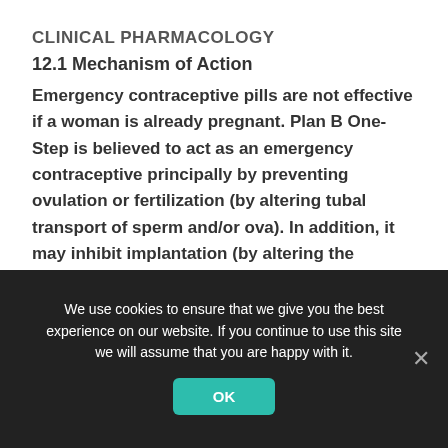CLINICAL PHARMACOLOGY
12.1 Mechanism of Action
Emergency contraceptive pills are not effective if a woman is already pregnant. Plan B One-Step is believed to act as an emergency contraceptive principally by preventing ovulation or fertilization (by altering tubal transport of sperm and/or ova). In addition, it may inhibit implantation (by altering the endometrium). It is not effective once the process of implantation has begun.
We use cookies to ensure that we give you the best experience on our website. If you continue to use this site we will assume that you are happy with it.